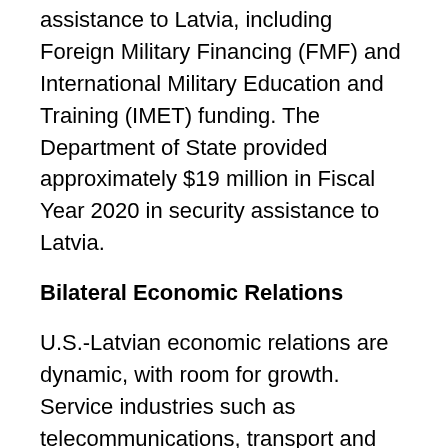assistance to Latvia, including Foreign Military Financing (FMF) and International Military Education and Training (IMET) funding. The Department of State provided approximately $19 million in Fiscal Year 2020 in security assistance to Latvia.
Bilateral Economic Relations
U.S.-Latvian economic relations are dynamic, with room for growth. Service industries such as telecommunications, transport and logistics, and information technology are potential areas for U.S.-Latvian investment and trade. Latvia and the United States have signed treaties on investment, trade, intellectual property protection, and avoidance of double taxation. Latvia participates in the visa waiver program, which allows nationals of participating